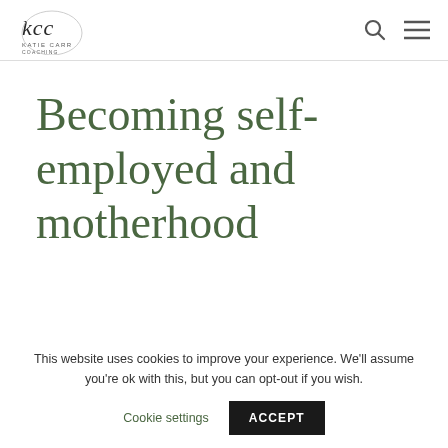KCC logo, search icon, menu icon
Becoming self-employed and motherhood
This website uses cookies to improve your experience. We'll assume you're ok with this, but you can opt-out if you wish.
Cookie settings  ACCEPT